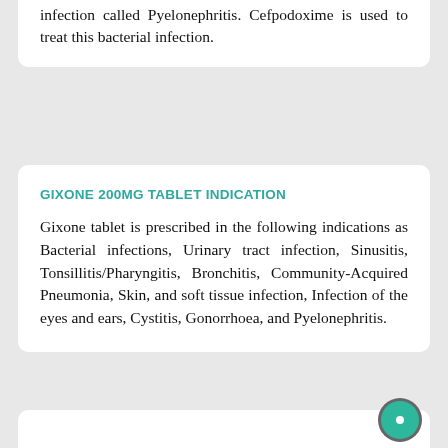infection called Pyelonephritis. Cefpodoxime is used to treat this bacterial infection.
GIXONE 200MG TABLET INDICATION
Gixone tablet is prescribed in the following indications as Bacterial infections, Urinary tract infection, Sinusitis, Tonsillitis/Pharyngitis, Bronchitis, Community-Acquired Pneumonia, Skin, and soft tissue infection, Infection of the eyes and ears, Cystitis, Gonorrhoea, and Pyelonephritis.